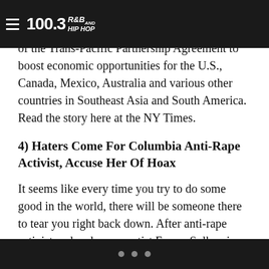100.3 R&B and Hip Hop
Obama just achieved one of his major goals for his second term. The Senate just voted in favor of the Trans-Pacific Partnership Agreement to boost economic opportunities for the U.S., Canada, Mexico, Australia and various other countries in Southeast Asia and South America. Read the story here at the NY Times.
4) Haters Come For Columbia Anti-Rape Activist, Accuse Her Of Hoax
It seems like every time you try to do some good in the world, there will be someone there to tear you right back down. After anti-rape activist and endurance artist Emma Sulkowicz walked across the stage at Columbia's Graduation ceremony on Tuesday with her signature mattress, someone anonymously put up posters in Manhattan's Upper West Side accusing her—and Writer Lena Dunham—of lying about
• • •